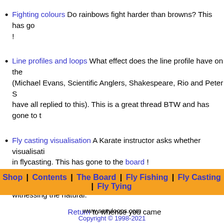Fighting colours Do rainbows fight harder than browns? This has go... !
Line profiles and loops What effect does the line profile have on the (Michael Evans, Scientific Anglers, Shakespeare, Rio and Peter S have all replied to this). This is a great thread BTW and has gone to t
Fly casting visualisation A Karate instructor asks whether visualisati in flycasting. This has gone to the board !
Fly Selection The $6,000,000 question. How to choose the corr witnessing the natural.
Return to whence you came
Shop | Contents | The Board | Fly Fishing | Fly Casting | Fly Tying
www.sexyloops.com Copyright © 1998-2021